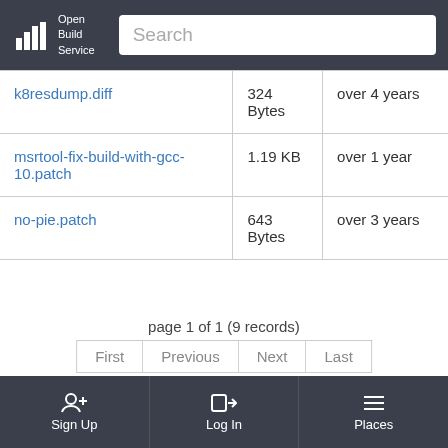[Figure (screenshot): Open Build Service logo and navigation bar with search box]
| k8resdump.diff | 324 Bytes | over 4 years |
| msrtool-fix-build-with-gcc-10.patch | 1.19 KB | over 1 year |
| no-pie.patch | 643 Bytes | over 3 years |
page 1 of 1 (9 records)
First  Previous  Next  Last
Latest Revision
Sign Up  Log In  Places